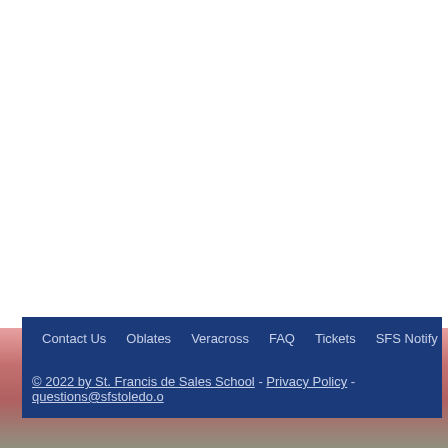[Figure (photo): Background photo of people, partially visible at the bottom of the page, with pink/red and muted tones]
Contact Us   Oblates   Veracross   FAQ   Tickets   SFS Notify
© 2022 by St. Francis de Sales School - Privacy Policy - questions@sfstoledo.o...